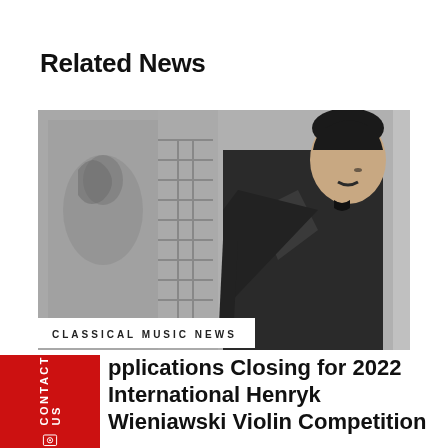Related News
[Figure (photo): Black and white historical photograph of a man in formal Victorian attire, shown in profile/three-quarter view against a decorative background]
CLASSICAL MUSIC NEWS
Applications Closing for 2022 International Henryk Wieniawski Violin Competition